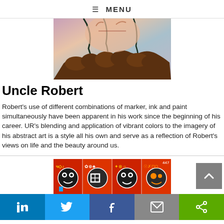≡ MENU
[Figure (photo): Partial view of an abstract artwork by Uncle Robert, showing colorful painted imagery with dark outlines on a multicolored background, cropped at top.]
Uncle Robert
Robert's use of different combinations of marker, ink and paint simultaneously have been apparent in his work since the beginning of his career. UR's blending and application of vibrant colors to the imagery of his abstract art is a style all his own and serve as a reflection of Robert's views on life and the beauty around us.
[Figure (photo): A strip of four colorful abstract artworks by Uncle Robert on red backgrounds featuring cartoon-like characters with bold black outlines.]